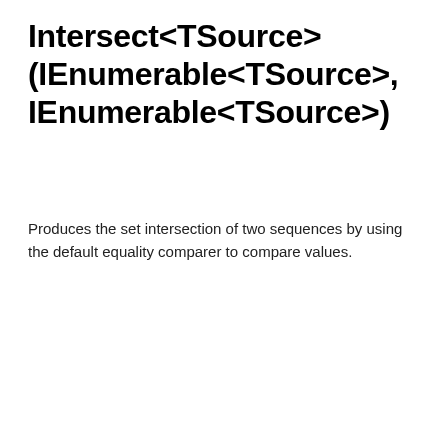Intersect<TSource>(IEnumerable<TSource>, IEnumerable<TSource>)
Produces the set intersection of two sequences by using the default equality comparer to compare values.
C#  Copy
public static
System.Collections.Generic.IEnumerable<TSource>
Intersect<TSource> (this
System.Collections.Generic.IEnumerable<TSource>
first,
System.Collections.Generic.IEnumerable<TSource>
second);